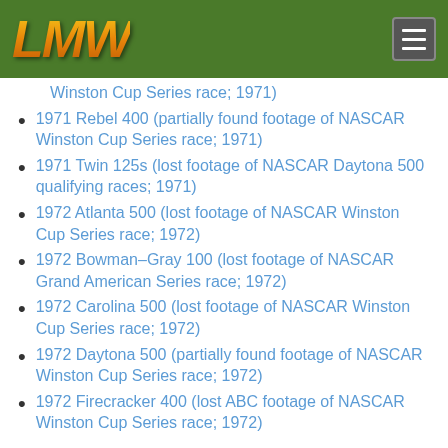[Figure (logo): LMW logo in gold/orange metallic stylized text on green header bar with hamburger menu button]
Winston Cup Series race; 1971)
1971 Rebel 400 (partially found footage of NASCAR Winston Cup Series race; 1971)
1971 Twin 125s (lost footage of NASCAR Daytona 500 qualifying races; 1971)
1972 Atlanta 500 (lost footage of NASCAR Winston Cup Series race; 1972)
1972 Bowman–Gray 100 (lost footage of NASCAR Grand American Series race; 1972)
1972 Carolina 500 (lost footage of NASCAR Winston Cup Series race; 1972)
1972 Daytona 500 (partially found footage of NASCAR Winston Cup Series race; 1972)
1972 Firecracker 400 (lost ABC footage of NASCAR Winston Cup Series race; 1972)